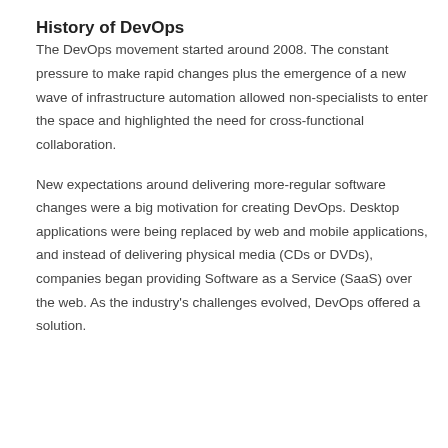History of DevOps
The DevOps movement started around 2008. The constant pressure to make rapid changes plus the emergence of a new wave of infrastructure automation allowed non-specialists to enter the space and highlighted the need for cross-functional collaboration.
New expectations around delivering more-regular software changes were a big motivation for creating DevOps. Desktop applications were being replaced by web and mobile applications, and instead of delivering physical media (CDs or DVDs), companies began providing Software as a Service (SaaS) over the web. As the industry's challenges evolved, DevOps offered a solution.